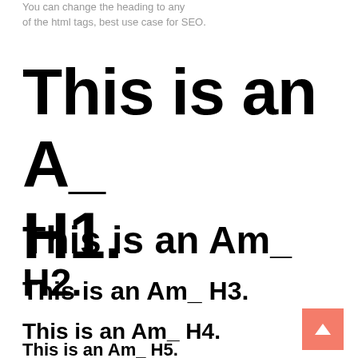You can change the heading to any of the html tags, best use case for SEO.
This is an A_ H1.
This is an Am_ H2.
This is an Am_ H3.
This is an Am_ H4.
This is an Am_ H5.